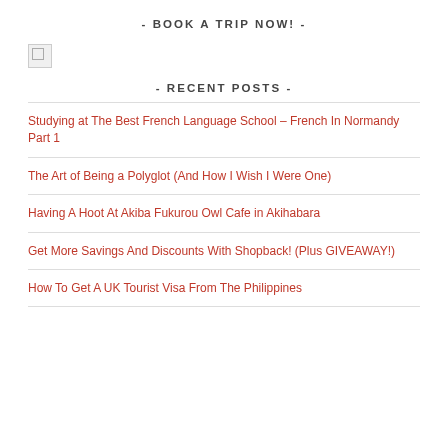- BOOK A TRIP NOW! -
[Figure (photo): Broken/placeholder image thumbnail]
- RECENT POSTS -
Studying at The Best French Language School – French In Normandy Part 1
The Art of Being a Polyglot (And How I Wish I Were One)
Having A Hoot At Akiba Fukurou Owl Cafe in Akihabara
Get More Savings And Discounts With Shopback! (Plus GIVEAWAY!)
How To Get A UK Tourist Visa From The Philippines